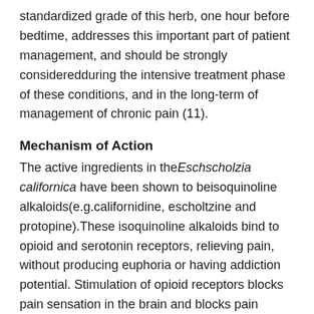standardized grade of this herb, one hour before bedtime, addresses this important part of patient management, and should be strongly consideredduring the intensive treatment phase of these conditions, and in the long-term of management of chronic pain (11).
Mechanism of Action
The active ingredients in the Eschscholzia californica have been shown to beisoquinoline alkaloids(e.g.californidine, escholtzine and protopine).These isoquinoline alkaloids bind to opioid and serotonin receptors, relieving pain, without producing euphoria or having addiction potential. Stimulation of opioid receptors blocks pain sensation in the brain and blocks pain conduction in the spinal cord from reaching higher brain centers. Activation of serotonin receptors is also known to block the